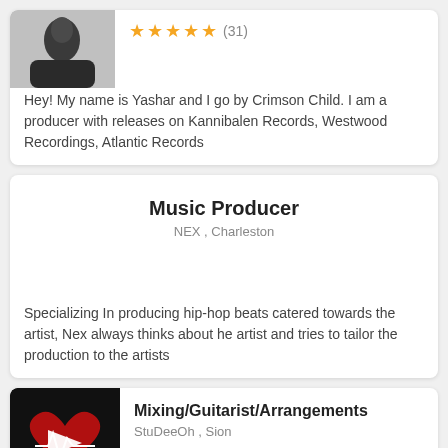[Figure (photo): Profile photo of person wearing dark clothing, cropped at top]
★★★★★ (31)
Hey! My name is Yashar and I go by Crimson Child. I am a producer with releases on Kannibalen Records, Westwood Recordings, Atlantic Records
Music Producer
NEX , Charleston
Specializing In producing hip-hop beats catered towards the artist, Nex always thinks about he artist and tries to tailor the production to the artists
[Figure (photo): Dark thumbnail image with red heart and play button icon for StuDeeOh]
Mixing/Guitarist/Arrangements
StuDeeOh , Sion
StuDeeOh is still young but can provide a creative boost and a different point of view on any project. I can help you to find the magic sparkle that